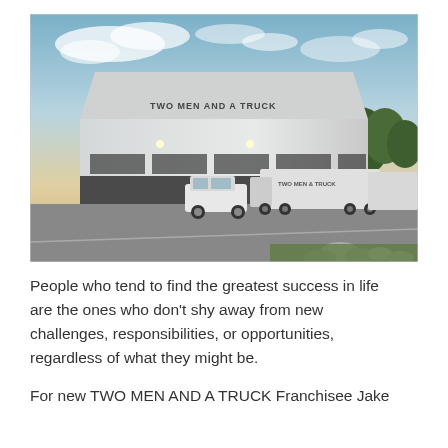[Figure (photo): Exterior photograph of a TWO MEN AND A TRUCK warehouse/office building at dusk. The building is a large modern structure with metal cladding and the company name visible on the facade. A white minivan and several large white moving trucks are parked in front. The sky shows sunset colors with clouds.]
People who tend to find the greatest success in life are the ones who don't shy away from new challenges, responsibilities, or opportunities, regardless of what they might be.
For new TWO MEN AND A TRUCK Franchisee Jake